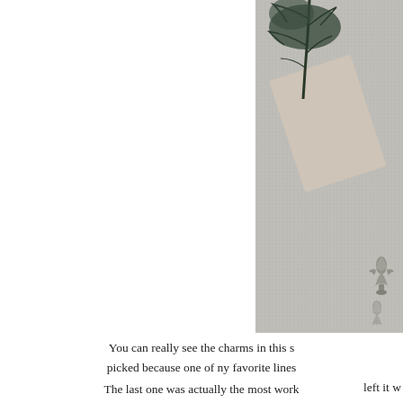[Figure (photo): Close-up photo of craft items on a textured grey carpet/fabric background. Shows decorative paper or fabric pieces with a black tree/branch silhouette design, along with metal charms including what appears to be a fleur-de-lis charm. The image is partially cropped on the right side of the page.]
You can really see the charms in this s... picked because one of ny favorite lines ... left it w...
The last one was actually the most work... from Michael's and added pai...